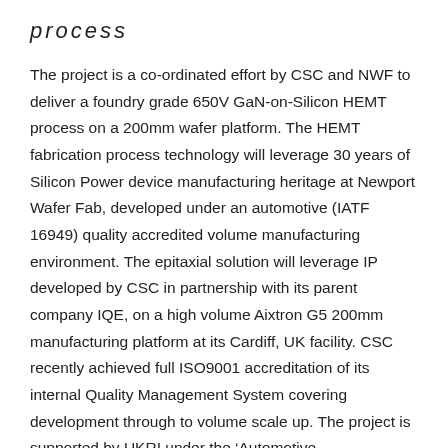process
The project is a co-ordinated effort by CSC and NWF to deliver a foundry grade 650V GaN-on-Silicon HEMT process on a 200mm wafer platform. The HEMT fabrication process technology will leverage 30 years of Silicon Power device manufacturing heritage at Newport Wafer Fab, developed under an automotive (IATF 16949) quality accredited volume manufacturing environment. The epitaxial solution will leverage IP developed by CSC in partnership with its parent company IQE, on a high volume Aixtron G5 200mm manufacturing platform at its Cardiff, UK facility. CSC recently achieved full ISO9001 accreditation of its internal Quality Management System covering development through to volume scale up. The project is supported by UKRI under the 'Automotive Transformation Fund: moving the UK automotive sector to zero